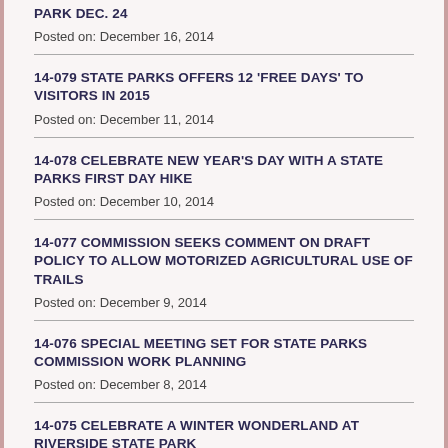PARK DEC. 24
Posted on: December 16, 2014
14-079 STATE PARKS OFFERS 12 'FREE DAYS' TO VISITORS IN 2015
Posted on: December 11, 2014
14-078 CELEBRATE NEW YEAR'S DAY WITH A STATE PARKS FIRST DAY HIKE
Posted on: December 10, 2014
14-077 COMMISSION SEEKS COMMENT ON DRAFT POLICY TO ALLOW MOTORIZED AGRICULTURAL USE OF TRAILS
Posted on: December 9, 2014
14-076 SPECIAL MEETING SET FOR STATE PARKS COMMISSION WORK PLANNING
Posted on: December 8, 2014
14-075 CELEBRATE A WINTER WONDERLAND AT RIVERSIDE STATE PARK